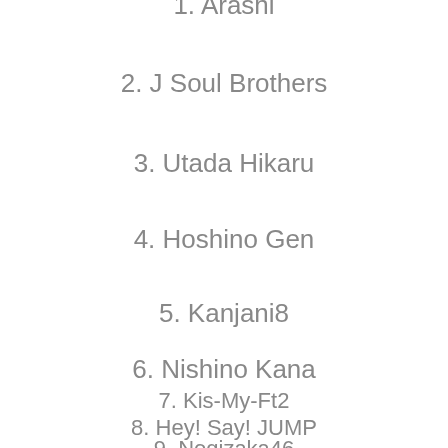1. Arashi
2. J Soul Brothers
3. Utada Hikaru
4. Hoshino Gen
5. Kanjani8
6. Nishino Kana
7. Kis-My-Ft2
8. Hey! Say! JUMP
9. Nogizaka46